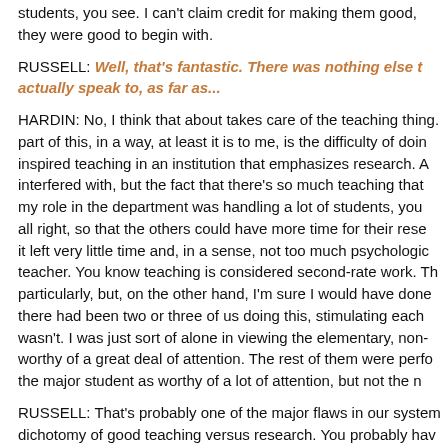students, you see. I can't claim credit for making them good, they were good to begin with.
RUSSELL: Well, that's fantastic. There was nothing else t actually speak to, as far as...
HARDIN: No, I think that about takes care of the teaching thing. The difficult part of this, in a way, at least it is to me, is the difficulty of doing inspired teaching in an institution that emphasizes research. A interfered with, but the fact that there's so much teaching that my role in the department was handling a lot of students, you all right, so that the others could have more time for their research. it left very little time and, in a sense, not too much psychological support to be a good teacher. You know teaching is considered second-rate work. That didn't bother me particularly, but, on the other hand, I'm sure I would have done better if there had been two or three of us doing this, stimulating each other. But it wasn't. I was just sort of alone in viewing the elementary, non-major as worthy of a great deal of attention. The rest of them were perfectly willing to view the major student as worthy of a lot of attention, but not the non-major.
RUSSELL: That's probably one of the major flaws in our system — the dichotomy of good teaching versus research. You probably have given some thought to that. If you could use a magic wand to try to perfect...